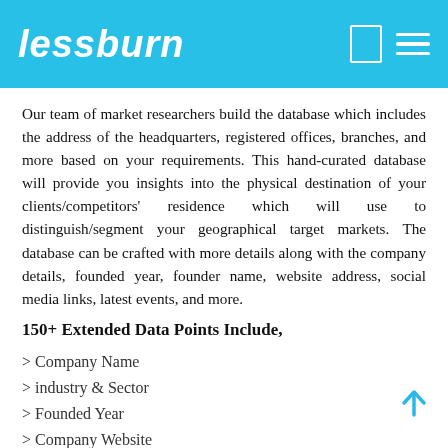lessburn
Our team of market researchers build the database which includes the address of the headquarters, registered offices, branches, and more based on your requirements. This hand-curated database will provide you insights into the physical destination of your clients/competitors' residence which will use to distinguish/segment your geographical target markets. The database can be crafted with more details along with the company details, founded year, founder name, website address, social media links, latest events, and more.
150+ Extended Data Points Include,
> Company Name
> industry & Sector
> Founded Year
> Company Website